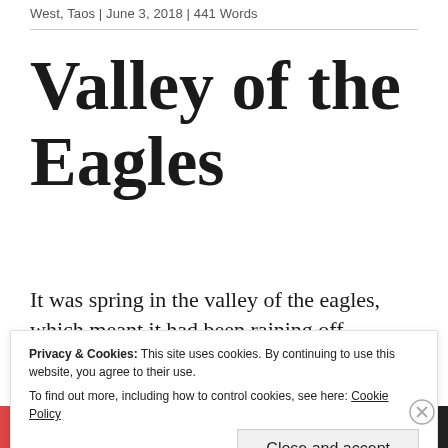West, Taos | June 3, 2018 | 441 Words
Valley of the Eagles
It was spring in the valley of the eagles, which meant it had been raining off
Privacy & Cookies: This site uses cookies. By continuing to use this website, you agree to their use. To find out more, including how to control cookies, see here: Cookie Policy
Close and accept
All in One Free App | DuckDuckGo